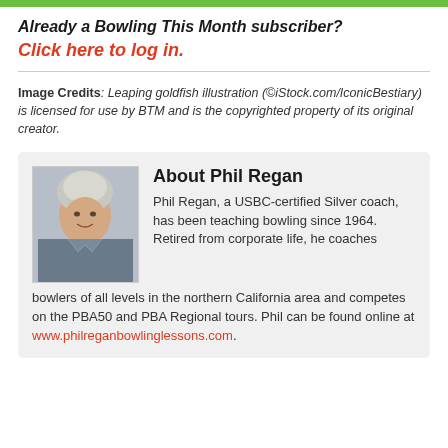Already a Bowling This Month subscriber?
Click here to log in.
Image Credits: Leaping goldfish illustration (©iStock.com/IconicBestiary) is licensed for use by BTM and is the copyrighted property of its original creator.
About Phil Regan
Phil Regan, a USBC-certified Silver coach, has been teaching bowling since 1964. Retired from corporate life, he coaches bowlers of all levels in the northern California area and competes on the PBA50 and PBA Regional tours. Phil can be found online at www.philreganbowlinglessons.com.